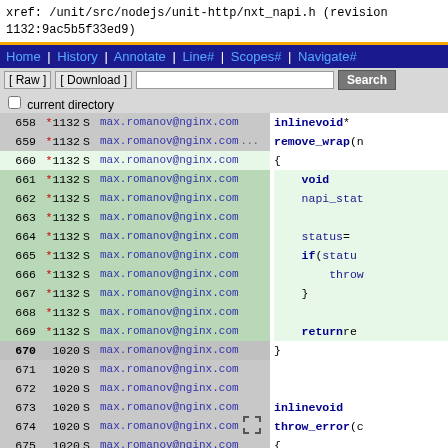xref: /unit/src/nodejs/unit-http/nxt_napi.h (revision 1132:9ac5b5f33ed9)
Home | History | Annotate | Line# | Scopes# | Navigate#
[ Raw ] [ Download ]  [ current directory ]  Search
| Line | Rev | S | Author |  | Code |
| --- | --- | --- | --- | --- | --- |
| 658 | *1132 | S | max.romanov@nginx.com |  | inline void * |
| 659 | *1132 | S | max.romanov@nginx.com | ... | remove_wrap(n |
| 660 | *1132 | S | max.romanov@nginx.com |  | { |
| 661 | *1132 | S | max.romanov@nginx.com |  |     void |
| 662 | *1132 | S | max.romanov@nginx.com |  |     napi_stat |
| 663 | *1132 | S | max.romanov@nginx.com |  |  |
| 664 | *1132 | S | max.romanov@nginx.com |  |     status = |
| 665 | *1132 | S | max.romanov@nginx.com |  |     if (statu |
| 666 | *1132 | S | max.romanov@nginx.com |  |         throw |
| 667 | *1132 | S | max.romanov@nginx.com |  |     } |
| 668 | *1132 | S | max.romanov@nginx.com |  |  |
| 669 | *1132 | S | max.romanov@nginx.com |  |     return re |
| 670 | 1020 | S | max.romanov@nginx.com |  | } |
| 671 | 1020 | S | max.romanov@nginx.com |  |  |
| 672 | 1020 | S | max.romanov@nginx.com |  |  |
| 673 | 1020 | S | max.romanov@nginx.com |  | inline void |
| 674 | 1020 | S | max.romanov@nginx.com | [box] | throw_error(c |
| 675 | 1020 | S | max.romanov@nginx.com |  | { |
| 676 | 1020 | S | max.romanov@nginx.com |  |     napi_thro |
| 677 | 1020 | S | max.romanov@nginx.com |  | } |
| 678 | 1020 | S | max.romanov@nginx.com |  |  |
| 679 | 1020 | S | max.romanov@nginx.com |  |  |
| 680 | 1020 | S | max.romanov@nginx.com |  | inline void |
| 681 | 1020 | S | max.romanov@nginx.com | [box] | throw_error(c |
| 682 | 1020 | S | max.romanov@nginx.com |  | { |
| 683 | 1020 | S | max.romanov@nginx.com |  |  |